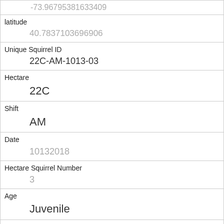| Field | Value |
| --- | --- |
|  | -73.96795381633409 |
| latitude | 40.7837103696906 |
| Unique Squirrel ID | 22C-AM-1013-03 |
| Hectare | 22C |
| Shift | AM |
| Date | 10132018 |
| Hectare Squirrel Number | 3 |
| Age | Juvenile |
| Primary Fur Color | Cinnamon |
| Highlight Fur Color | Gray |
| Combination of Primary and Highlight Color | Cinnamon+Gray |